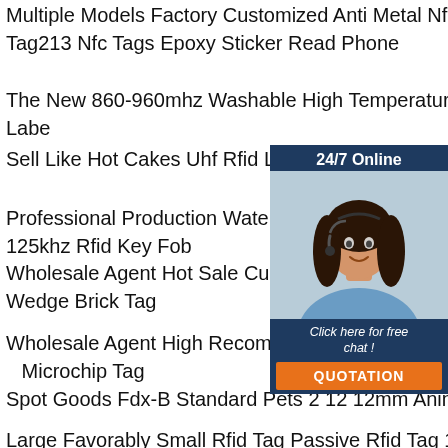Multiple Models Factory Customized Anti Metal Nfc Social Media Sharing Business Tag213 Nfc Tags Epoxy Sticker Read Phone
The New 860-960mhz Washable High Temperature Resistance Rfid Uhf Durable Laundry Label
Sell Like Hot Cakes Uhf Rfid Laundry Tag Temperature Different Size Washable Lau
Professional Production Waterproof Abs L 125khz Rfid Key Fob
Wholesale Agent Hot Sale Customized Lo Automobile Theft Prevention Systems 134 Rfid Wedge Brick Tag
Wholesale Agent High Recommended Cu Logo 134 2khz 125khz Pet Tracking Rfid Microchip Tag
Spot Goods Fdx-B Standard Pets 2 12 12mm Animal Tracking Chip Animals
Large Favorably Small Rfid Tag Passive Rfid Tag 125khz Sticker
Direct Supply Privacy Protection Rfid Credit Cad Pouch Signal Blocking Customized Bag
[Figure (infographic): Customer service chat widget with a woman wearing a headset, '24/7 Online' header, 'Click here for free chat!' text, and orange QUOTATION button, on dark blue background]
[Figure (illustration): Orange TOP badge/icon with dotted arc above the word TOP in red]